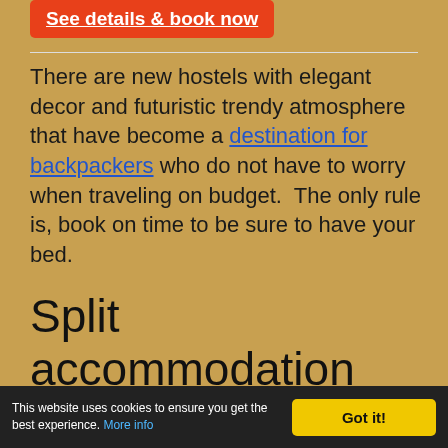[Figure (other): Red button with white underlined text 'See details & book now']
There are new hostels with elegant decor and futuristic trendy atmosphere that have become a destination for backpackers who do not have to worry when traveling on budget.  The only rule is, book on time to be sure to have your bed.
Split accommodation Apartments & Rooms
This website uses cookies to ensure you get the best experience. More info   Got it!